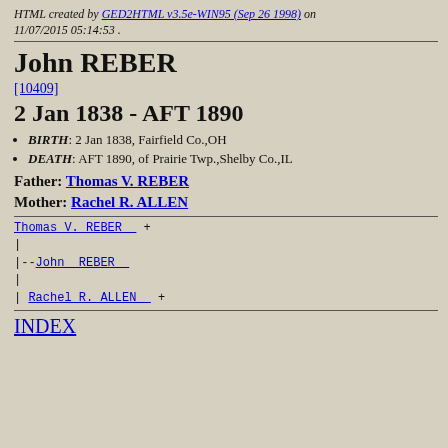HTML created by GED2HTML v3.5e-WIN95 (Sep 26 1998) on 11/07/2015 05:14:53 .
John REBER
[10409]
2 Jan 1838 - AFT 1890
BIRTH: 2 Jan 1838, Fairfield Co.,OH
DEATH: AFT 1890, of Prairie Twp.,Shelby Co.,IL
Father: Thomas V. REBER
Mother: Rachel R. ALLEN
Thomas V. REBER  +
|
|--John  REBER  
|
| Rachel R. ALLEN  +
INDEX